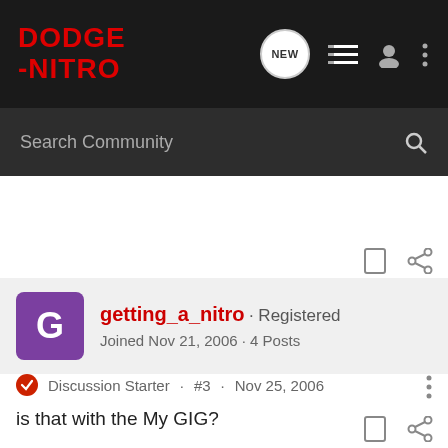DODGE-NITRO
Search Community
getting_a_nitro · Registered
Joined Nov 21, 2006 · 4 Posts
Discussion Starter · #3 · Nov 25, 2006
is that with the My GIG?